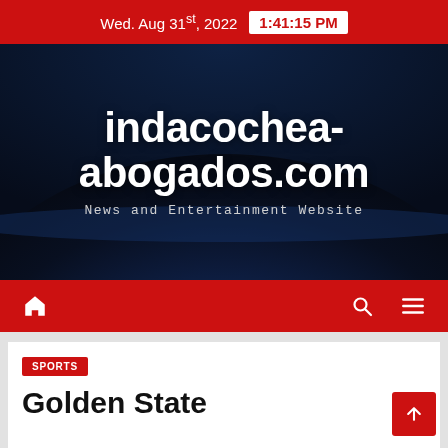Wed. Aug 31st, 2022  1:41:15 PM
[Figure (screenshot): Website hero banner with globe/Earth-from-space background showing city lights at night]
indacochea-abogados.com
News and Entertainment Website
[Figure (infographic): Red navigation bar with home icon, search icon, and hamburger menu icon]
SPORTS
Golden State